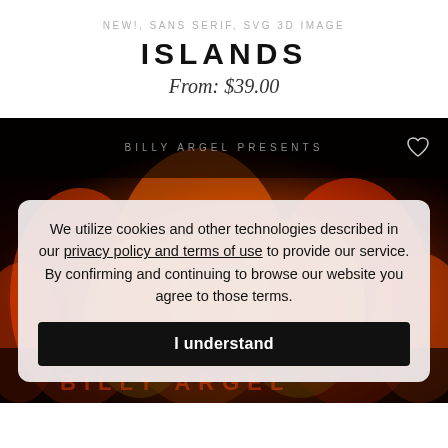NEW!, SANS SERIF, SVG 3D IMAGE
ISLANDS
From: $39.00
[Figure (photo): Fire and flames background with text 'BILLY ARGEL PRESENTS' and a heart icon overlay, partially covered by a cookie consent banner]
We utilize cookies and other technologies described in our privacy policy and terms of use to provide our service. By confirming and continuing to browse our website you agree to those terms.
I understand